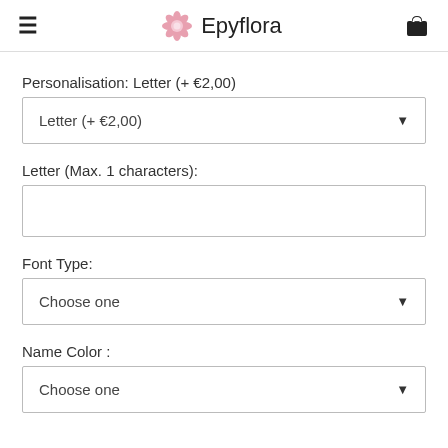Epyflora
Personalisation: Letter (+ €2,00)
Letter (+ €2,00)
Letter (Max. 1 characters):
Font Type:
Choose one
Name Color :
Choose one